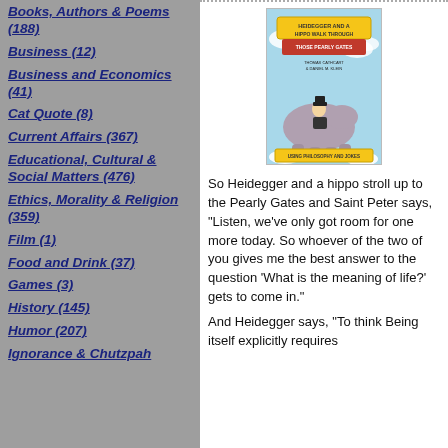Books, Authors & Poems (188)
Business (12)
Business and Economics (41)
Cat Quote (8)
Current Affairs (367)
Educational, Cultural & Social Matters (476)
Ethics, Morality & Religion (359)
Film (1)
Food and Drink (37)
Games (3)
History (145)
Humor (207)
Ignorance & Chutzpah
[Figure (illustration): Book cover of 'Heidegger and a Hippo Walk Through Those Pearly Gates' showing a cartoon of a man riding a hippo near pearly gates]
So Heidegger and a hippo stroll up to the Pearly Gates and Saint Peter says, "Listen, we've only got room for one more today. So whoever of the two of you gives me the best answer to the question 'What is the meaning of life?' gets to come in."
And Heidegger says, "To think Being itself explicitly requires